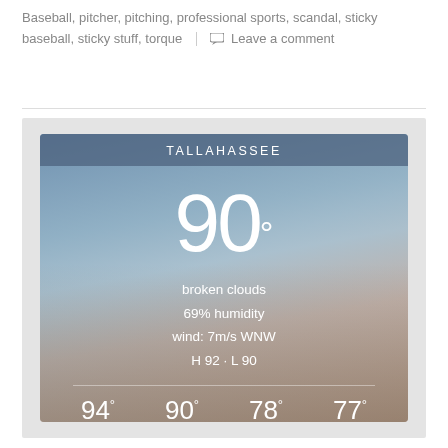Baseball, pitcher, pitching, professional sports, scandal, sticky baseball, sticky stuff, torque | Leave a comment
[Figure (infographic): Weather widget showing Tallahassee weather: 90 degrees, broken clouds, 69% humidity, wind: 7m/s WNW, H 92 · L 90. Forecast: SUN 94°, MON 90°, TUE 78°, WED 77°. Background shows blurred city skyline photo.]